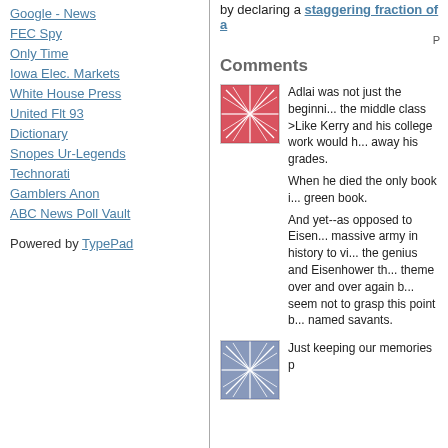Google - News
FEC Spy
Only Time
Iowa Elec. Markets
White House Press
United Flt 93
Dictionary
Snopes Ur-Legends
Technorati
Gamblers Anon
ABC News Poll Vault
Powered by TypePad
by declaring a staggering fraction of a
P
Comments
[Figure (illustration): Red/pink abstract pattern avatar image]
Adlai was not just the beginni... the middle class >Like Kerry and his college work would h... away his grades.

When he died the only book i... green book.

And yet--as opposed to Eisen... massive army in history to vi... the genius and Eisenhower th... theme over and over again b... seem not to grasp this point b... named savants.
[Figure (illustration): Blue/purple abstract pattern avatar image]
Just keeping our memories p